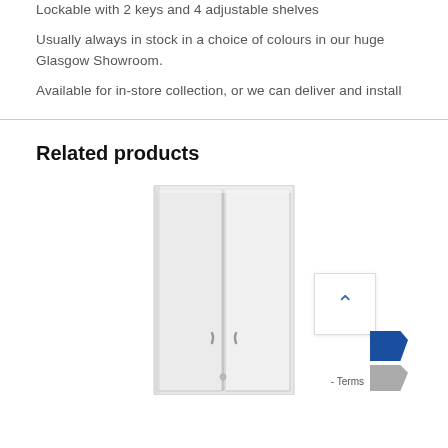Lockable with 2 keys and 4 adjustable shelves
Usually always in stock in a choice of colours in our huge Glasgow Showroom.
Available for in-store collection, or we can deliver and install
Related products
[Figure (photo): White tall two-door metal storage cabinet with small handles and lock]